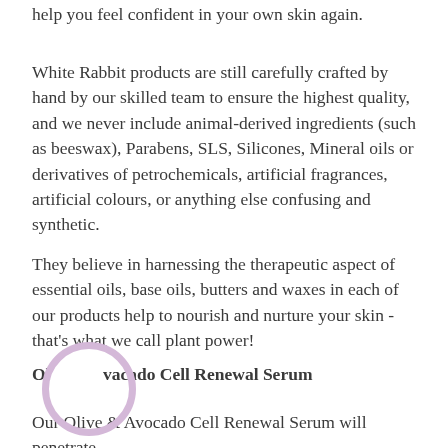help you feel confident in your own skin again.
White Rabbit products are still carefully crafted by hand by our skilled team to ensure the highest quality, and we never include animal-derived ingredients (such as beeswax), Parabens, SLS, Silicones, Mineral oils or derivatives of petrochemicals, artificial fragrances, artificial colours, or anything else confusing and synthetic.
They believe in harnessing the therapeutic aspect of essential oils, base oils, butters and waxes in each of our products help to nourish and nurture your skin - that's what we call plant power!
Olive & Avocado Cell Renewal Serum
Our Olive & Avocado Cell Renewal Serum will penetrate